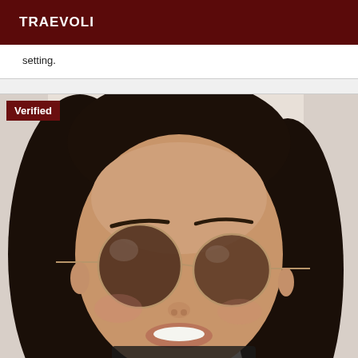TRAEVOLI
setting.
[Figure (photo): Close-up selfie of a young woman with long dark straight hair wearing large round sunglasses, smiling, with a 'Verified' badge overlay in the top-left corner.]